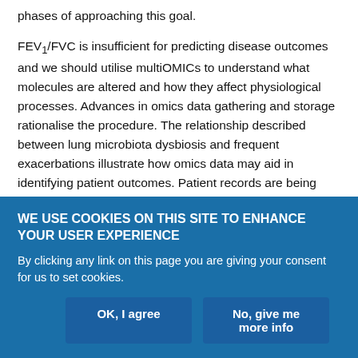phases of approaching this goal. FEV1/FVC is insufficient for predicting disease outcomes and we should utilise multiOMICs to understand what molecules are altered and how they affect physiological processes. Advances in omics data gathering and storage rationalise the procedure. The relationship described between lung microbiota dysbiosis and frequent exacerbations illustrate how omics data may aid in identifying patient outcomes. Patient records are being stored as EHRs that can be utilised in research studies and predict clinical care. The Precision Medicine Research Initiative is a step towards implementing precision medicine into all facets of disease care; one of which will
WE USE COOKIES ON THIS SITE TO ENHANCE YOUR USER EXPERIENCE
By clicking any link on this page you are giving your consent for us to set cookies.